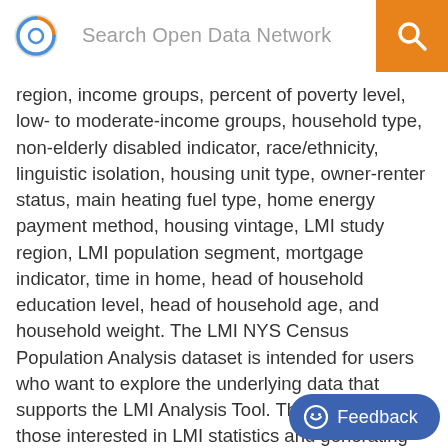Search Open Data Network
region, income groups, percent of poverty level, low- to moderate-income groups, household type, non-elderly disabled indicator, race/ethnicity, linguistic isolation, housing unit type, owner-renter status, main heating fuel type, home energy payment method, housing vintage, LMI study region, LMI population segment, mortgage indicator, time in home, head of household education level, head of household age, and household weight. The LMI NYS Census Population Analysis dataset is intended for users who want to explore the underlying data that supports the LMI Analysis Tool. The majority of those interested in LMI statistics and generating custom charts should use the interactive LMI Analysis Tool at https://www.nyserda.ny.gov/lmi-tool. This underlying LMI dataset is intended for users with experience working with survey data files and producing weighted survey estimates using statistical software packages (such as SAS, SPSS, or Stata).